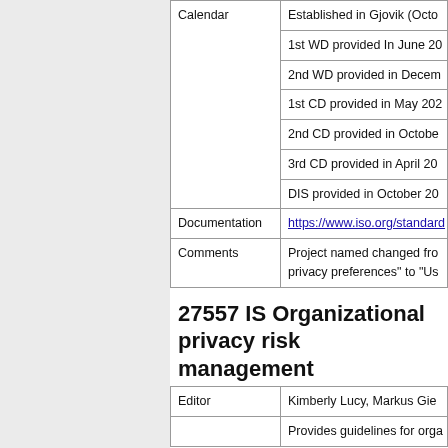|  |  |
| --- | --- |
| Calendar | Established in Gjovik (Octo
1st WD provided In June 20
2nd WD provided in Decem
1st CD provided in May 202
2nd CD provided in Octobe
3rd CD provided in April 20
DIS provided in October 20 |
| Documentation | https://www.iso.org/standard |
| Comments | Project named changed fro
privacy preferences" to "Us |
27557 IS Organizational privacy risk management
|  |  |
| --- | --- |
| Editor | Kimberly Lucy, Markus Gie |
|  | Provides guidelines for orga |